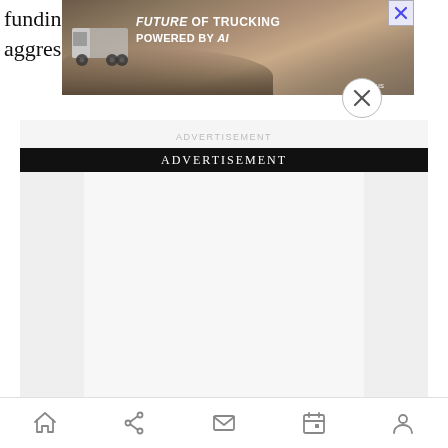fundi...ts to aggre...
[Figure (screenshot): Advertisement banner overlay showing a truck with text 'FUTURE OF TRUCKING POWERED BY AI' and a brand logo, with an X close button in the corner]
ADVERTISEMENT
ADVERTISEMENT
Home | Share | Mail | Calendar | Profile navigation icons